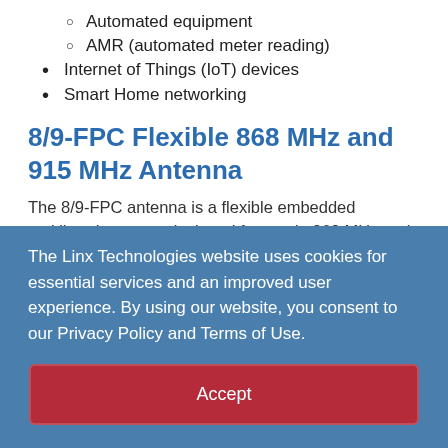Automated equipment
AMR (automated meter reading)
Internet of Things (IoT) devices
Smart Home networking
8/9-FPC Flexible 868 MHz and 915 MHz Antenna
The 8/9-FPC antenna is a flexible embedded multiband antenna designed for use in 868 MHz and 915 MHz
The Linx Technologies website uses cookies for essential services and an improved user experience. By using our website, you consent to our Privacy Policy and Terms of Use.
Accept